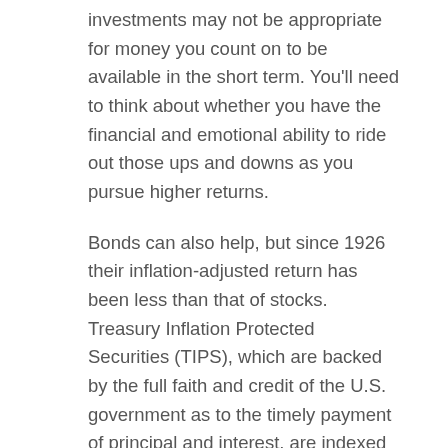investments may not be appropriate for money you count on to be available in the short term. You'll need to think about whether you have the financial and emotional ability to ride out those ups and downs as you pursue higher returns.
Bonds can also help, but since 1926 their inflation-adjusted return has been less than that of stocks. Treasury Inflation Protected Securities (TIPS), which are backed by the full faith and credit of the U.S. government as to the timely payment of principal and interest, are indexed so that your return should keep pace with inflation. The principal is automatically adjusted every six months to reflect increases or decreases in the Consumer Price Index; as long as you hold a TIPS to maturity, you will receive the greater of the original or inflation-adjusted principal. Unless you own TIPs in a tax-deferred account, you must pay federal income tax on the income plus any increase in principal, even